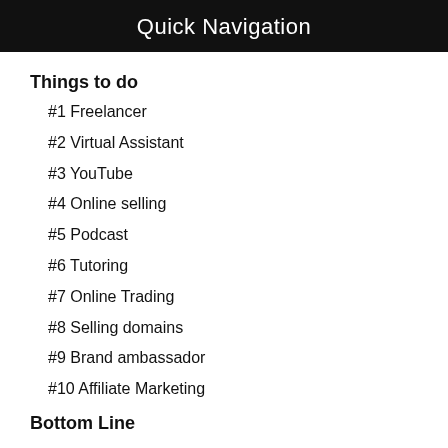Quick Navigation
Things to do
#1 Freelancer
#2 Virtual Assistant
#3 YouTube
#4 Online selling
#5 Podcast
#6 Tutoring
#7 Online Trading
#8 Selling domains
#9 Brand ambassador
#10 Affiliate Marketing
Bottom Line